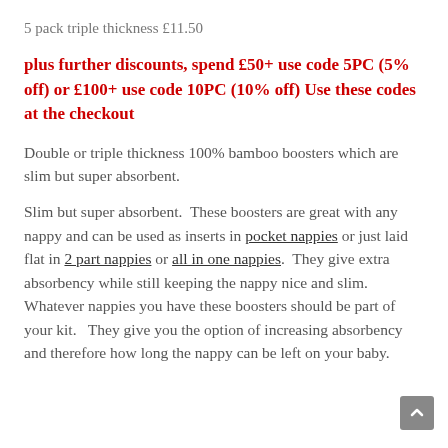5 pack triple thickness £11.50
plus further discounts, spend £50+ use code 5PC (5% off) or £100+ use code 10PC (10% off) Use these codes at the checkout
Double or triple thickness 100% bamboo boosters which are slim but super absorbent.
Slim but super absorbent.  These boosters are great with any nappy and can be used as inserts in pocket nappies or just laid flat in 2 part nappies or all in one nappies.  They give extra absorbency while still keeping the nappy nice and slim.  Whatever nappies you have these boosters should be part of your kit.   They give you the option of increasing absorbency and therefore how long the nappy can be left on your baby.